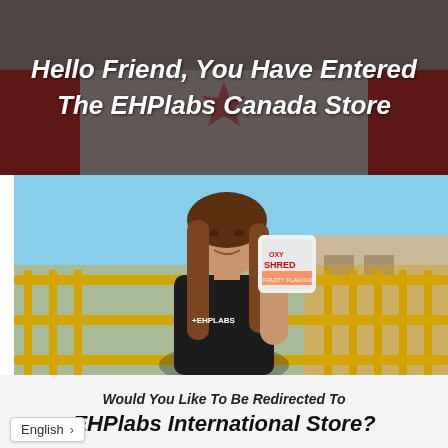Hello Friend, You Have Entered The EHPlabs Canada Store
[Figure (photo): Young woman in black EHPlabs t-shirt holding up a white supplement tub (OxyShred) towards the camera, smiling. Background shows yellow metal railings/stairs and an outdoor setting.]
Would You Like To Be Redirected To EHPlabs International Store?
English >